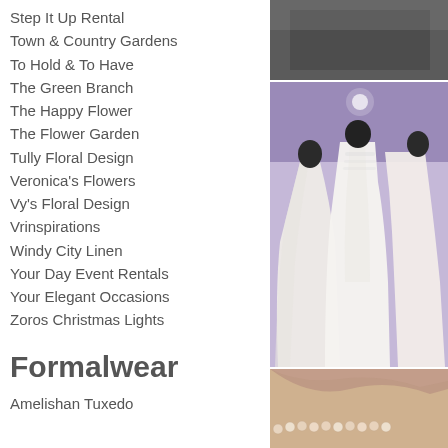Step It Up Rental
Town & Country Gardens
To Hold & To Have
The Green Branch
The Happy Flower
The Flower Garden
Tully Floral Design
Veronica's Flowers
Vy's Floral Design
Vrinspirations
Windy City Linen
Your Day Event Rentals
Your Elegant Occasions
Zoros Christmas Lights
Formalwear
Amelishan Tuxedo
[Figure (photo): Dark interior photo, top portion cropped]
[Figure (photo): Three wedding dress mannequins displayed in a hall with purple ceiling lighting]
[Figure (photo): Close-up of pearl jewelry beads and decorative accessories]